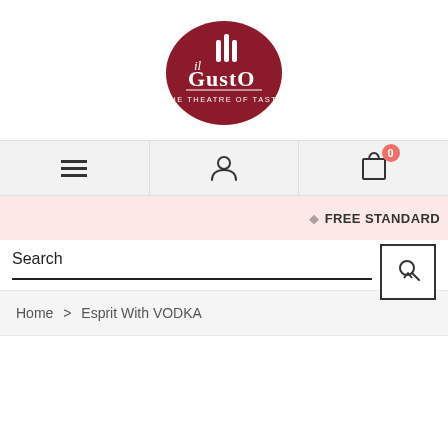[Figure (logo): il Gusto - The Theatre of Taste logo: dark red oval with white text]
[Figure (infographic): Navigation bar with hamburger menu icon, user/person icon, and shopping cart icon with badge showing 0]
FREE STANDARD
Search
Home > Esprit With VODKA